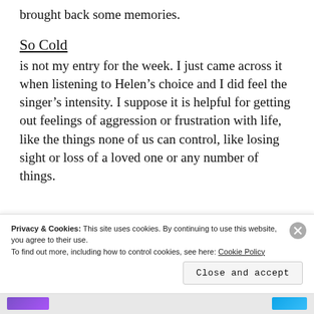brought back some memories.
So Cold
is not my entry for the week. I just came across it when listening to Helen’s choice and I did feel the singer’s intensity. I suppose it is helpful for getting out feelings of aggression or frustration with life, like the things none of us can control, like losing sight or loss of a loved one or any number of things.
Privacy & Cookies: This site uses cookies. By continuing to use this website, you agree to their use.
To find out more, including how to control cookies, see here: Cookie Policy
Close and accept